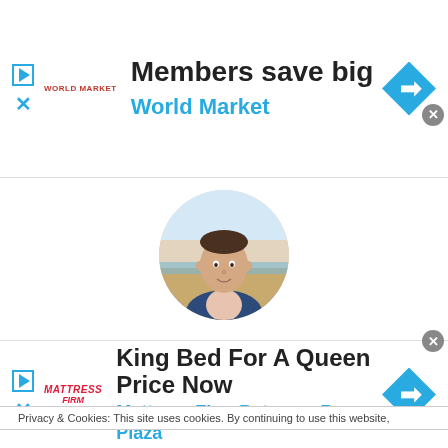[Figure (infographic): Top advertisement banner for World Market: 'Members save big / World Market' with play button, close button, World Market logo, and navigation diamond icon.]
[Figure (photo): Circular profile photo of Jason Flatt, a man in a blue blazer standing on a beach at sunset.]
Jason Flatt ( Senior Editor )
Jason is the Sr. Editor at But Why Tho? and producer of
Privacy & Cookies: This site uses cookies. By continuing to use this website,
[Figure (infographic): Bottom advertisement banner for Mattress Firm: 'King Bed For A Queen Price Now / Mattress Firm Potomac Run Plaza' with play button, close button, Mattress Firm logo, and navigation diamond icon.]